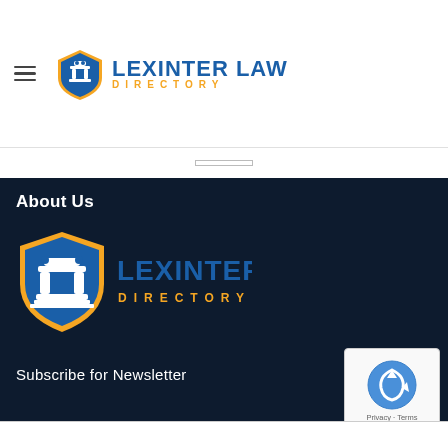Lexinter Law Directory
About Us
[Figure (logo): Lexinter Law Directory logo - large version on dark background]
Subscribe for Newsletter
[Figure (other): reCAPTCHA badge with Privacy and Terms links]